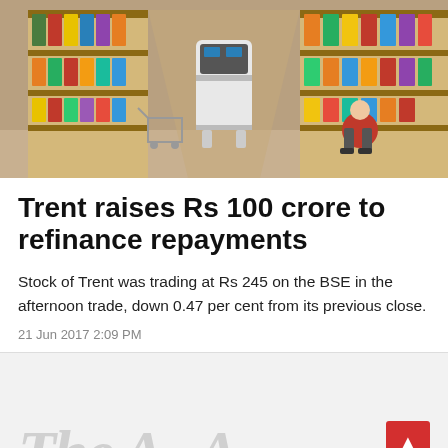[Figure (photo): Supermarket aisle with shelves stocked with products on both sides. A white autonomous robot is visible in the center of the aisle. A person in a red shirt is crouching near the shelves on the right side.]
Trent raises Rs 100 crore to refinance repayments
Stock of Trent was trading at Rs 245 on the BSE in the afternoon trade, down 0.47 per cent from its previous close.
21 Jun 2017 2:09 PM
[Figure (other): Gray section with watermark text 'The A... A...' in light gray serif italic font, and a red scroll-to-top button with an upward arrow in the bottom right corner.]